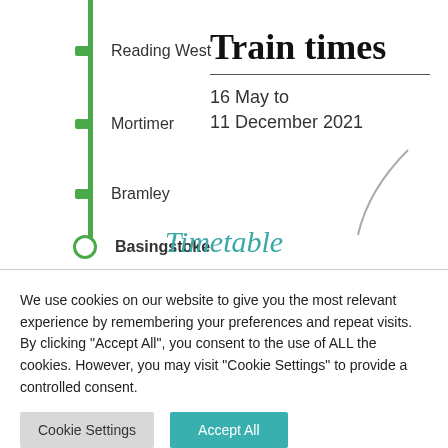[Figure (infographic): Train route diagram showing a vertical green line with stops: Reading West (top), Mortimer, Bramley, and Basingstoke (bottom, hollow circle terminus). Right side shows title 'Train times' with date range '16 May to 11 December 2021' and italic teal heading 'Timetable' at bottom.]
Train times
16 May to 11 December 2021
Timetable
We use cookies on our website to give you the most relevant experience by remembering your preferences and repeat visits. By clicking "Accept All", you consent to the use of ALL the cookies. However, you may visit "Cookie Settings" to provide a controlled consent.